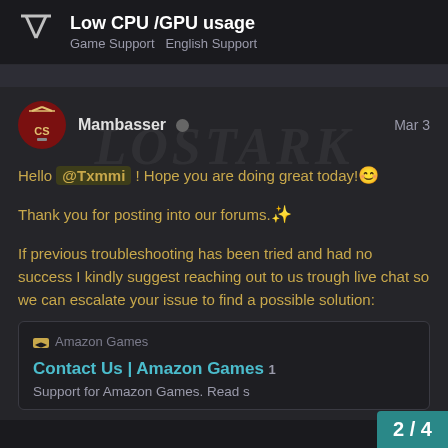Low CPU /GPU usage — Game Support  English Support
Mambasser  Mar 3
Hello @Txmmi ! Hope you are doing great today! 😊

Thank you for posting into our forums. ✨

If previous troubleshooting has been tried and had no success I kindly suggest reaching out to us trough live chat so we can escalate your issue to find a possible solution:
Amazon Games
Contact Us | Amazon Games
Support for Amazon Games. Read s
2 / 4